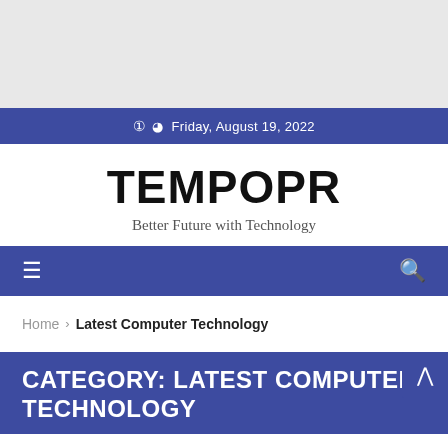[Figure (screenshot): Top banner image area, partially visible, showing colorful background]
Friday, August 19, 2022
TEMPOPR
Better Future with Technology
≡  🔍
Home › Latest Computer Technology
CATEGORY: LATEST COMPUTER TECHNOLOGY